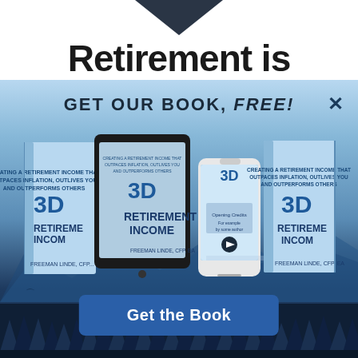Retirement is
GET OUR BOOK, FREE!
[Figure (illustration): 3D Retirement Income book shown in three formats: physical book (left), tablet/e-reader (center-left), smartphone with audiobook player (center-right), and physical book (right). Each shows the cover '3D Retirement Income' by Freeman Linde, CFP, EA. Mountain and sky background.]
Get the Book